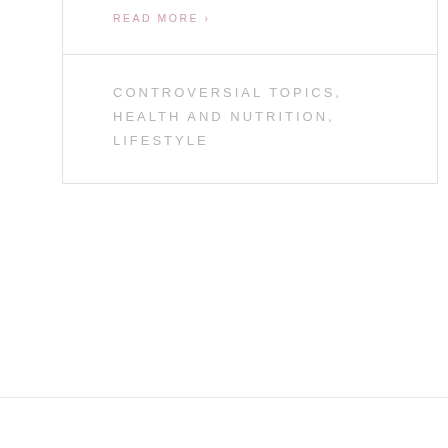READ MORE ›
CONTROVERSIAL TOPICS, HEALTH AND NUTRITION, LIFESTYLE